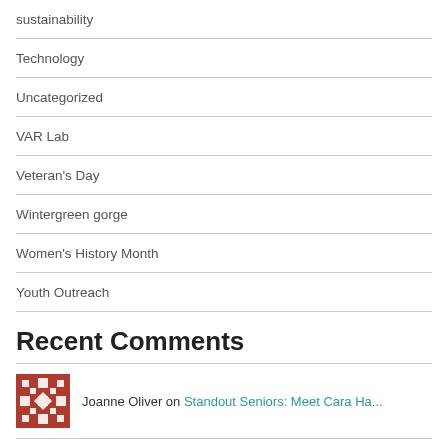sustainability
Technology
Uncategorized
VAR Lab
Veteran's Day
Wintergreen gorge
Women's History Month
Youth Outreach
Recent Comments
Joanne Oliver on Standout Seniors: Meet Cara Ha...
Patricia Homer on Standout Seniors: Meet Taylor...